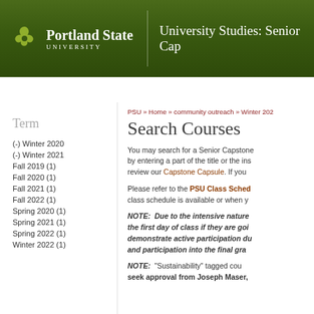Portland State University | University Studies: Senior Cap
Our Program | Freshman Inquiry | Sophomore Inquiry & Clusters | Senior Cap
PSU » Home » community outreach » Winter 202
Search Courses
You may search for a Senior Capstone by entering a part of the title or the ins review our Capstone Capsule. If you
Please refer to the PSU Class Sched class schedule is available or when y
NOTE: Due to the intensive nature the first day of class if they are goi demonstrate active participation du and participation into the final gra
NOTE: "Sustainability" tagged cou seek approval from Joseph Maser,
Term
(-) Winter 2020
(-) Winter 2021
Fall 2019 (1)
Fall 2020 (1)
Fall 2021 (1)
Fall 2022 (1)
Spring 2020 (1)
Spring 2021 (1)
Spring 2022 (1)
Winter 2022 (1)